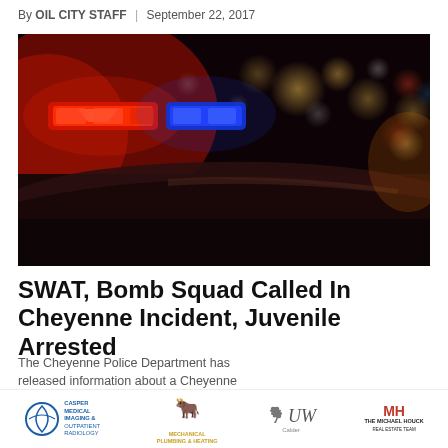By OIL CITY STAFF | September 22, 2017
[Figure (photo): Nighttime photo of police car with red and blue flashing lights on the light bar, bokeh city lights in background]
SWAT, Bomb Squad Called In Cheyenne Incident, Juvenile Arrested
The Cheyenne Police Department has released information about a Cheyenne incident...
[Figure (logo): Sponsor logos: Casper Medical Imaging & Outpatient Radiology, Mechanical Plumbing & Heating, UW Calder, The Michael Houck Real Estate Team]